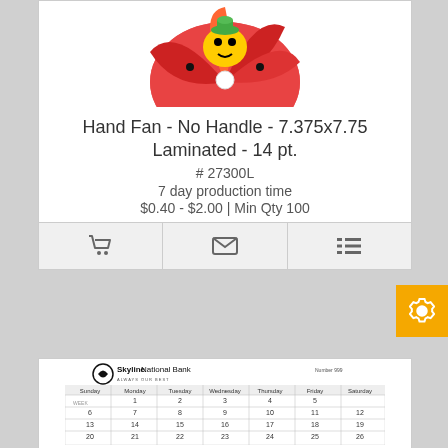[Figure (photo): Product image of a hand fan with colorful character design, no handle, shown from above at slight angle]
Hand Fan - No Handle - 7.375x7.75 Laminated - 14 pt.
# 27300L
7 day production time
$0.40 - $2.00 | Min Qty 100
[Figure (screenshot): Three action icons in a bar: shopping cart, envelope/email, and list/details]
[Figure (photo): Product image showing a promotional wall calendar printed with Skyline National Bank branding and monthly calendar grid]